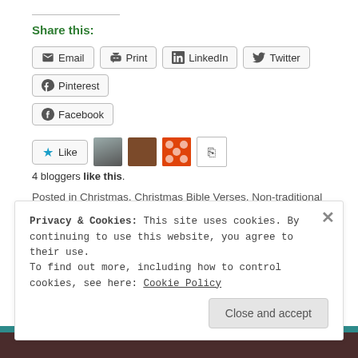Share this:
Email | Print | LinkedIn | Twitter | Pinterest | Facebook
[Figure (other): Like button with star icon and 4 blogger avatar thumbnails]
4 bloggers like this.
Posted in Christmas, Christmas Bible Verses, Non-traditional Bible Verses, Uncategorized | Tagged Christmas, Christmas Bible verses, Non-traditional Bible Verses | 3 Comments
Privacy & Cookies: This site uses cookies. By continuing to use this website, you agree to their use.
To find out more, including how to control cookies, see here: Cookie Policy
Close and accept